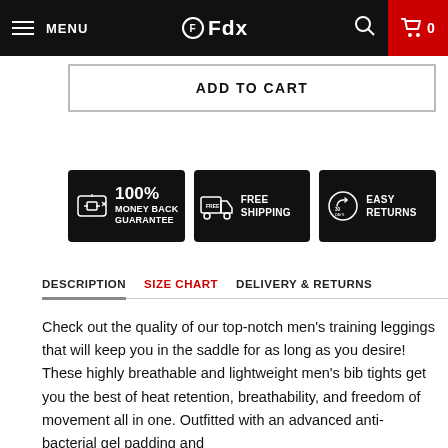MENU | Fdx | 0
ADD TO CART
[Figure (infographic): Three trust badge icons on black background: 100% MONEY BACK GUARANTEE, FREE SHIPPING, EASY RETURNS]
DESCRIPTION  SIZE CHART  DELIVERY & RETURNS
Check out the quality of our top-notch men's training leggings that will keep you in the saddle for as long as you desire! These highly breathable and lightweight men's bib tights get you the best of heat retention, breathability, and freedom of movement all in one. Outfitted with an advanced anti-bacterial gel padding and